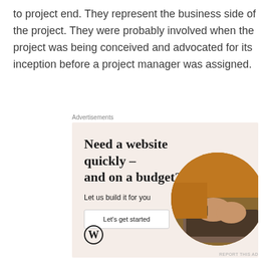to project end. They represent the business side of the project. They were probably involved when the project was being conceived and advocated for its inception before a project manager was assigned.
Advertisements
[Figure (illustration): WordPress advertisement banner with beige/cream background. Headline reads 'Need a website quickly – and on a budget?' with subtext 'Let us build it for you', a 'Let's get started' button, WordPress logo (W in circle), and a circular cropped photo of hands typing on a laptop.]